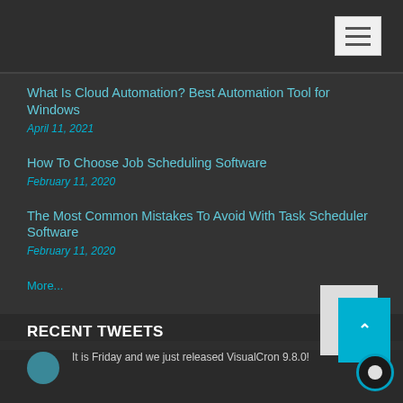[Navigation header with hamburger menu]
What Is Cloud Automation? Best Automation Tool for Windows
April 11, 2021
How To Choose Job Scheduling Software
February 11, 2020
The Most Common Mistakes To Avoid With Task Scheduler Software
February 11, 2020
More...
RECENT TWEETS
It is Friday and we just released VisualCron 9.8.0!